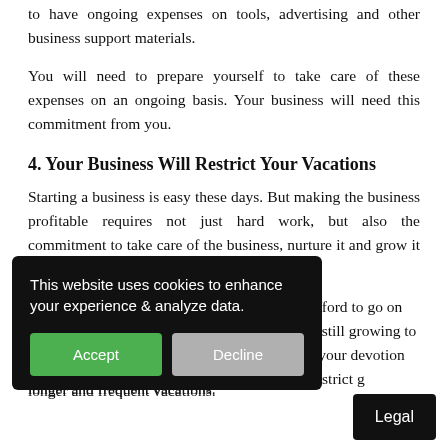to have ongoing expenses on tools, advertising and other business support materials.
You will need to prepare yourself to take care of these expenses on an ongoing basis. Your business will need this commitment from you.
4. Your Business Will Restrict Your Vacations
Starting a business is easy these days. But making the business profitable requires not just hard work, but also the commitment to take care of the business, nurture it and grow it to a level it can stand on its own and
afford to go on d still growing to l your devotion restrict g longer and frequent vacations.
[Figure (screenshot): Cookie consent banner overlay with black background showing text 'This website uses cookies to enhance your experience & analyze data.' with Accept (green) and Decline (grey) buttons]
[Figure (screenshot): Black 'Legal' button in bottom right corner]